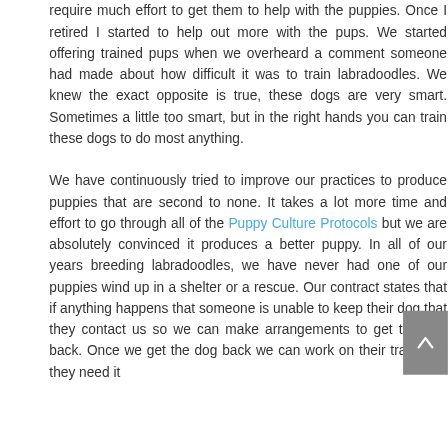require much effort to get them to help with the puppies. Once I retired I started to help out more with the pups. We started offering trained pups when we overheard a comment someone had made about how difficult it was to train labradoodles. We knew the exact opposite is true, these dogs are very smart. Sometimes a little too smart, but in the right hands you can train these dogs to do most anything.

We have continuously tried to improve our practices to produce puppies that are second to none. It takes a lot more time and effort to go through all of the Puppy Culture Protocols but we are absolutely convinced it produces a better puppy. In all of our years breeding labradoodles, we have never had one of our puppies wind up in a shelter or a rescue. Our contract states that if anything happens that someone is unable to keep their dog that they contact us so we can make arrangements to get the dog back. Once we get the dog back we can work on their training if they need it